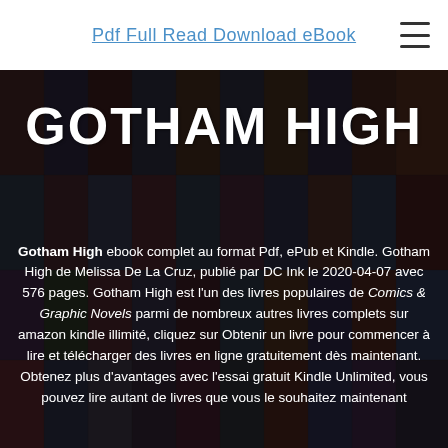Pdf Full Read Download eBook
GOTHAM HIGH
Gotham High ebook complet au format Pdf, ePub et Kindle. Gotham High de Melissa De La Cruz, publié par DC Ink le 2020-04-07 avec 576 pages. Gotham High est l'un des livres populaires de Comics & Graphic Novels parmi de nombreux autres livres complets sur amazon kindle illimité, cliquez sur Obtenir un livre pour commencer à lire et télécharger des livres en ligne gratuitement dès maintenant. Obtenez plus d'avantages avec l'essai gratuit Kindle Unlimited, vous pouvez lire autant de livres que vous le souhaitez maintenant